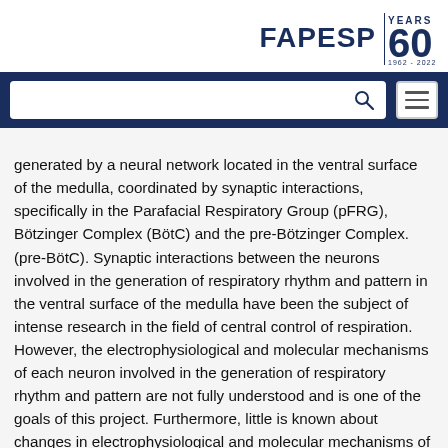[Figure (logo): FAPESP 60 Years 1962-2022 logo in navy blue]
[Figure (screenshot): Navy blue navigation bar with white search box and hamburger menu button]
generated by a neural network located in the ventral surface of the medulla, coordinated by synaptic interactions, specifically in the Parafacial Respiratory Group (pFRG), Bötzinger Complex (BötC) and the pre-Bötzinger Complex. (pre-BötC). Synaptic interactions between the neurons involved in the generation of respiratory rhythm and pattern in the ventral surface of the medulla have been the subject of intense research in the field of central control of respiration. However, the electrophysiological and molecular mechanisms of each neuron involved in the generation of respiratory rhythm and pattern are not fully understood and is one of the goals of this project. Furthermore, little is known about changes in electrophysiological and molecular mechanisms of different respiratory neurons during postnatal development, mechanisms that could explain the changes in respiratory rhythm and pattern in the different phases of the development. Thus, the aims of this project are to investigate the electrophysiological properties of different respiratory neurons of the ventral surface of